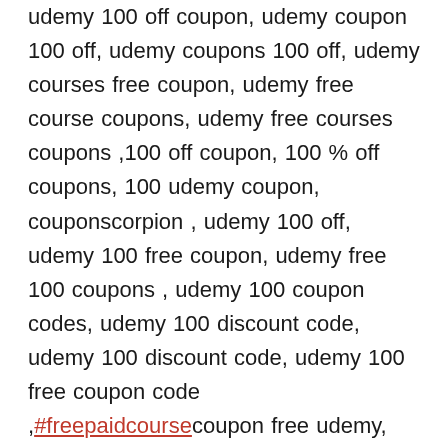udemy 100 off coupon, udemy coupon 100 off, udemy coupons 100 off, udemy courses free coupon, udemy free course coupons, udemy free courses coupons ,100 off coupon, 100 % off coupons, 100 udemy coupon, couponscorpion , udemy 100 off, udemy 100 free coupon, udemy free 100 coupons , udemy 100 coupon codes, udemy 100 discount code, udemy 100 discount code, udemy 100 free coupon code ,#freepaidcoursecoupon free udemy, udemy coupon for free, udemy coupons for free, udemy free coupon, udemy free coupons , coupon scorpion, 100 off udemy coupons, free coupon code udemy , free coupon codes for udemy , free coupon for udemy course, free coupons for udemy courses, free course coupon udemy, free udemy course coupon, free udemy courses coupon, free udemy courses coupons, udemy 100 off coupon, udemy coupon 100 off